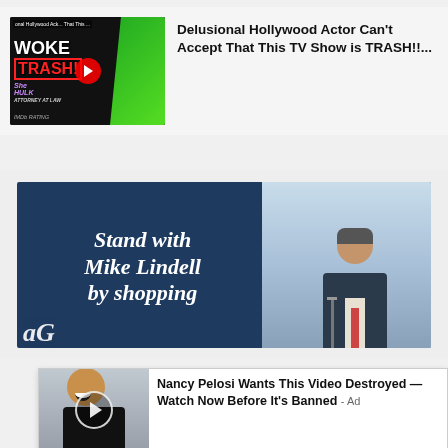[Figure (screenshot): Video thumbnail for 'Delusional Hollywood Actor Can't Accept That This TV Show is TRASH!!...' showing a WOKE TRASH graphic with She-Hulk imagery]
Delusional Hollywood Actor Can't Accept That This TV Show is TRASH!!...
[Figure (photo): Advertisement: 'Stand with Mike Lindell by shopping' with dark navy background text on left and photo of man speaking at microphone on right]
[Figure (screenshot): Pop-up ad with close button (x), video thumbnail of woman smiling, and text: 'Nancy Pelosi Wants This Video Destroyed — Watch Now Before It's Banned - Ad']